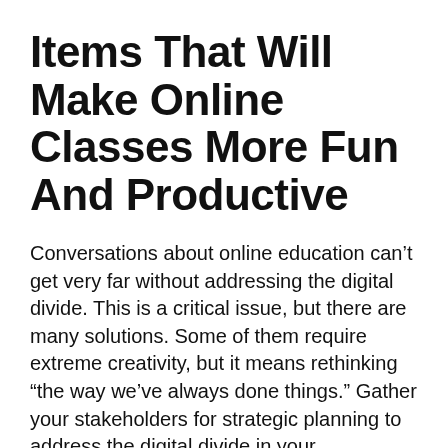Items That Will Make Online Classes More Fun And Productive
Conversations about online education can't get very far without addressing the digital divide. This is a critical issue, but there are many solutions. Some of them require extreme creativity, but it means rethinking “the way we’ve always done things.” Gather your stakeholders for strategic planning to address the digital divide in your organization. Challenge the naysayers and the status quo.